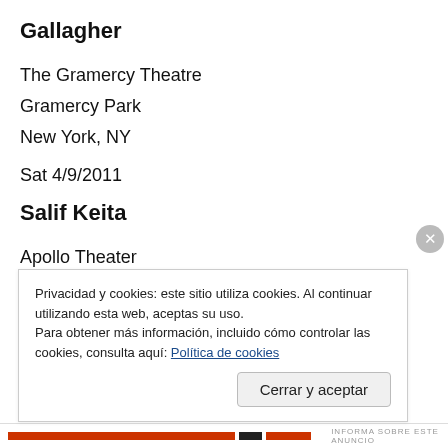Gallagher
The Gramercy Theatre
Gramercy Park
New York, NY
Sat 4/9/2011
Salif Keita
Apollo Theater
Harlem
Privacidad y cookies: este sitio utiliza cookies. Al continuar utilizando esta web, aceptas su uso.
Para obtener más información, incluido cómo controlar las cookies, consulta aquí: Política de cookies
Cerrar y aceptar